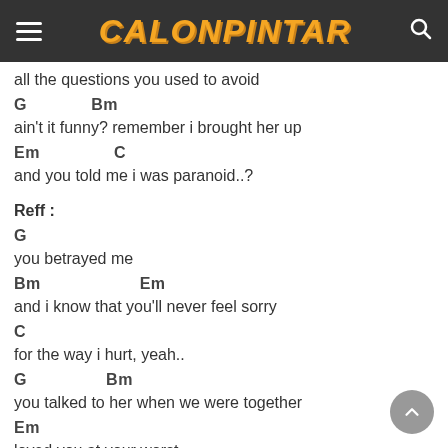CALONPINTAR
all the questions you used to avoid
G             Bm
ain't it funny? remember i brought her up
Em                 C
and you told me i was paranoid..?
Reff :
G
you betrayed me
Bm                        Em
and i know that you'll never feel sorry
C
for the way i hurt, yeah..
G                   Bm
you talked to her when we were together
Em
loved you at your worst